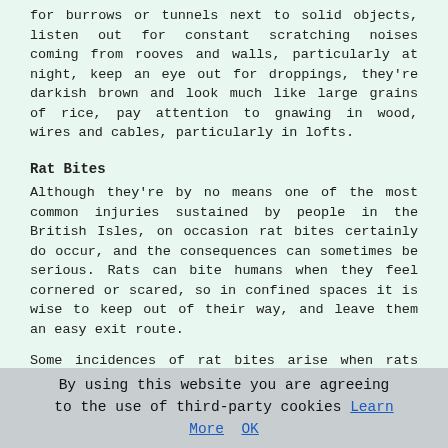for burrows or tunnels next to solid objects, listen out for constant scratching noises coming from rooves and walls, particularly at night, keep an eye out for droppings, they're darkish brown and look much like large grains of rice, pay attention to gnawing in wood, wires and cables, particularly in lofts.
Rat Bites
Although they're by no means one of the most common injuries sustained by people in the British Isles, on occasion rat bites certainly do occur, and the consequences can sometimes be serious. Rats can bite humans when they feel cornered or scared, so in confined spaces it is wise to keep out of their way, and leave them an easy exit route.
Some incidences of rat bites arise when rats are kept as pets, and ramming your hand in a rat's cage could be something of a risk. Rat bites aren't necessarily dangerous, but should be avoided wherever possible, and they can become infected or be fatal if they develop into "rat bite fever". "Rat bite fever" has a 10% mortality rate. if left untreated.
By using this website you are agreeing to the use of third-party cookies Learn More OK